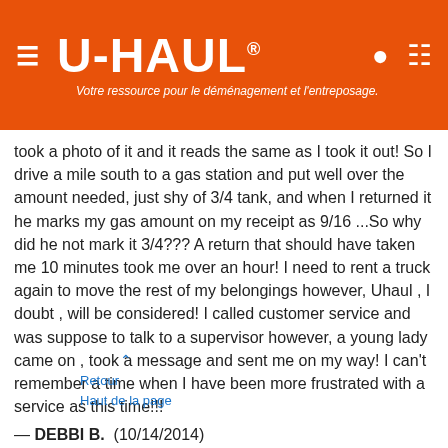U-HAUL® Votre ressource pour le déménagement et l'entreposage.
took a photo of it and it reads the same as I took it out! So I drive a mile south to a gas station and put well over the amount needed, just shy of 3/4 tank, and when I returned it he marks my gas amount on my receipt as 9/16 ...So why did he not mark it 3/4??? A return that should have taken me 10 minutes took me over an hour! I need to rent a truck again to move the rest of my belongings however, Uhaul , I doubt , will be considered! I called customer service and was suppose to talk to a supervisor however, a young lady came on , took a message and sent me on my way! I can't remember a time when I have been more frustrated with a service as this time!!! — DEBBI B. (10/14/2014)
We were scheduled to pick-up our truck at 8:00 AM. The shop was supposed to open at 8:00 AM. It did not open until 8:25 AM, and we did not get out of there until 8:45 AM. This put us behind schedule, because we had to make it to Indianapolis by a certain time. It put it